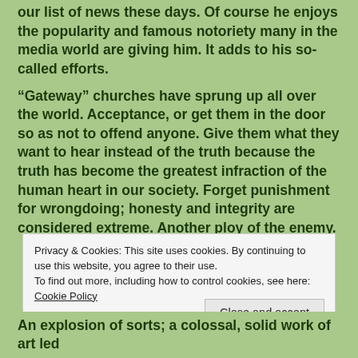our list of news these days. Of course he enjoys the popularity and famous notoriety many in the media world are giving him. It adds to his so-called efforts.
“Gateway” churches have sprung up all over the world. Acceptance, or get them in the door so as not to offend anyone. Give them what they want to hear instead of the truth because the truth has become the greatest infraction of the human heart in our society. Forget punishment for wrongdoing; honesty and integrity are considered extreme. Another ploy of the enemy.
Privacy & Cookies: This site uses cookies. By continuing to use this website, you agree to their use.
To find out more, including how to control cookies, see here: Cookie Policy
Close and accept
An explosion of sorts; a colossal, solid work of art led